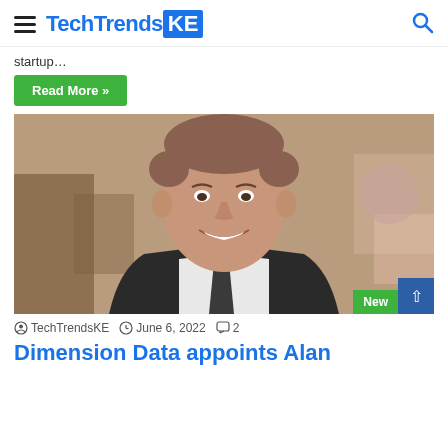TechTrendsKE
startup…
Read More »
[Figure (photo): Professional headshot of a man in a dark suit and tie, smiling, with a blurred office background.]
TechTrendsKE   June 6, 2022   2
Dimension Data appoints Alan